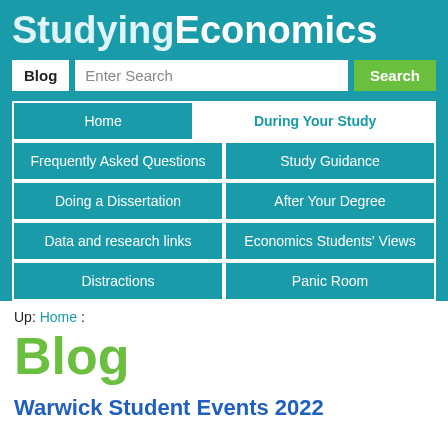Studying Economics
Blog | Enter Search | Search | Home | During Your Study | Frequently Asked Questions | Study Guidance | Doing a Dissertation | After Your Degree | Data and research links | Economics Students' Views | Distractions | Panic Room
Up: Home :
Blog
Warwick Student Events 2022